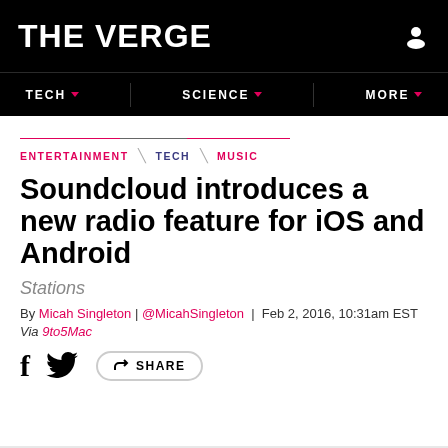THE VERGE
TECH | SCIENCE | MORE
ENTERTAINMENT \ TECH \ MUSIC
Soundcloud introduces a new radio feature for iOS and Android
Stations
By Micah Singleton | @MicahSingleton | Feb 2, 2016, 10:31am EST
Via 9to5Mac
SHARE